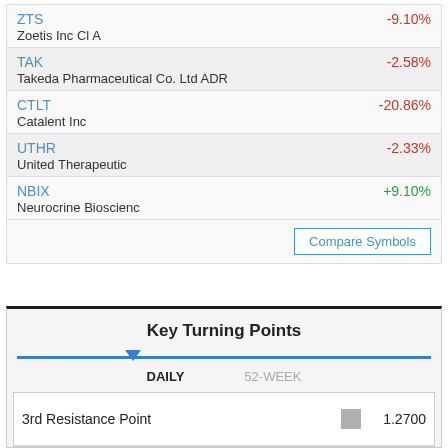ZTS -9.10% Zoetis Inc Cl A
TAK -2.58% Takeda Pharmaceutical Co. Ltd ADR
CTLT -20.86% Catalent Inc
UTHR -2.33% United Therapeutic
NBIX +9.10% Neurocrine Bioscienc
Compare Symbols
Key Turning Points
DAILY   52-WEEK
|  |  |  |
| --- | --- | --- |
| 3rd Resistance Point |  | 1.2700 |